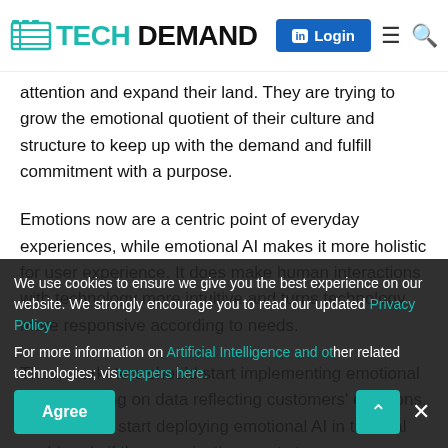TECH DEMAND
attention and expand their land. They are trying to grow the emotional quotient of their culture and structure to keep up with the demand and fulfill commitment with a purpose.
Emotions now are a centric point of everyday experiences, while emotional AI makes it more holistic for user experience. It does make human interactions with technology more intuitive and turns technology more responsive according to needs.
Thus, marketers should start implementing emotional AI by focusing on data reflecting customers' emotions. It is better to start deploying emotional AI in the real world early if the organization wants to move successfully with this technology for a better future.
For more information on Artificial Intelligence and other related technologies, visit our whitepapers here.
We use cookies to ensure we give you the best experience on our website. We strongly encourage you to read our updated Privacy Policy For more information on Artificial Intelligence and other related technologies, visit our whitepapers here.